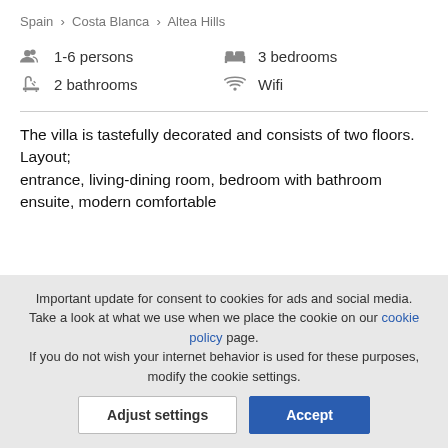Spain › Costa Blanca › Altea Hills
1-6 persons
3 bedrooms
2 bathrooms
Wifi
The villa is tastefully decorated and consists of two floors. Layout;
entrance, living-dining room, bedroom with bathroom ensuite, modern comfortable
Important update for consent to cookies for ads and social media. Take a look at what we use when we place the cookie on our cookie policy page.
If you do not wish your internet behavior is used for these purposes, modify the cookie settings.